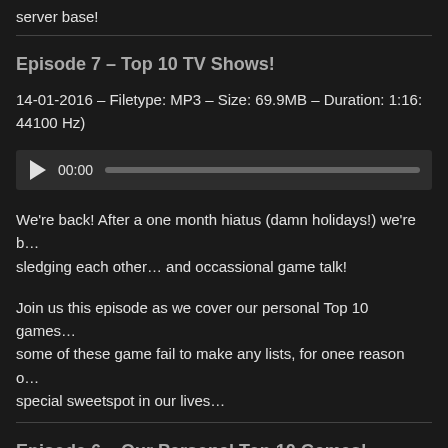server base!
Episode 7 – Top 10 TV Shows!
14-01-2016 – Filetype: MP3 – Size: 69.9MB – Duration: 1:16:… 44100 Hz)
[Figure (other): Audio player with play button, time display 00:00, and progress bar]
We're back! After a one month hiatus (damn holidays!) we're b… sledging each other… and occassional game talk!
Join us this episode as we cover our personal Top 10 games… some of these game fail to make any lists, for onee reason o… special sweetspot in our lives…
Episode 6 – Our Personal Top 10 Games!
28-12-2015 – Filetype: MP3 – Size: 74.72MB – Duration: 1:2… 44100 Hz)